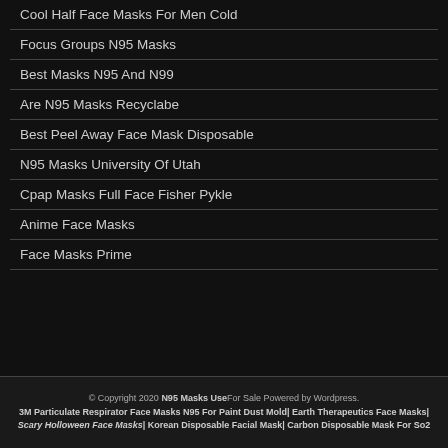Cool Half Face Masks For Men Cold
Focus Groups N95 Masks
Best Masks N95 And N99
Are N95 Masks Recyclabe
Best Peel Away Face Mask Disposable
N95 Masks University Of Utah
Cpap Masks Full Face Fisher Pykle
Anime Face Masks
Face Masks Prime
© Copyright 2020 N95 Masks UseFor Sale Powered by Wordpress. 3M Particulate Respirator Face Masks N95 For Paint Dust Mold| Earth Therapeutics Face Masks| Scary Holloween Face Masks| Korean Disposable Facial Mask| Carbon Disposable Mask For So2